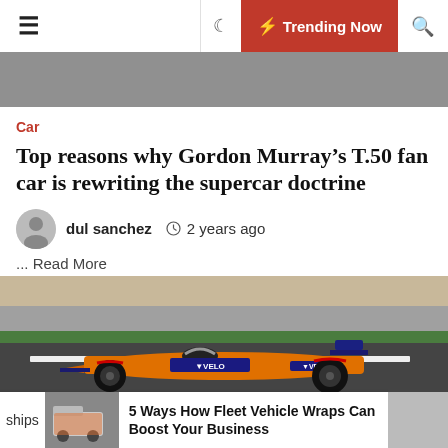☰  ☽  ⚡ Trending Now  🔍
Car
Top reasons why Gordon Murray's T.50 fan car is rewriting the supercar doctrine
dul sanchez   🕐 2 years ago
... Read More
[Figure (photo): McLaren Formula 1 orange racing car (with VELO sponsorship) on track at Silverstone, viewed from side]
ships   5 Ways How Fleet Vehicle Wraps Can Boost Your Business